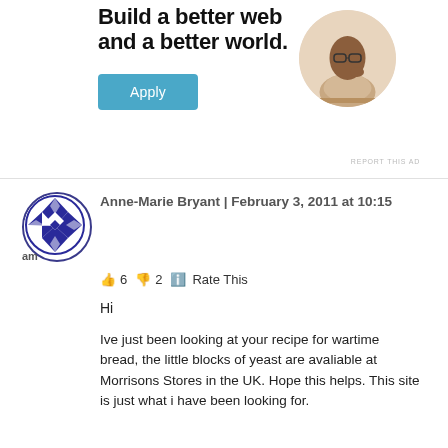Build a better web and a better world.
[Figure (illustration): A circular portrait photo of a Black man wearing glasses and a beige t-shirt, sitting at a desk thinking with his hand near his chin.]
REPORT THIS AD
[Figure (illustration): Circular avatar icon with a blue geometric diamond/snowflake pattern on white background.]
Anne-Marie Bryant  |  February 3, 2011 at 10:15 am
👍 6  👎 2  ℹ Rate This
Hi
Ive just been looking at your recipe for wartime bread, the little blocks of yeast are avaliable at Morrisons Stores in the UK. Hope this helps. This site is just what i have been looking for.